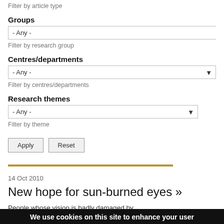Filter by article type
Groups
- Any -
Filter by research group
Centres/departments
- Any -
Filter by centres/departments
Research themes
- Any -
Filter by theme
Apply   Reset
14 Oct 2010
New hope for sun-burned eyes »
People whose vision is badly damaged by
We use cookies on this site to enhance your user